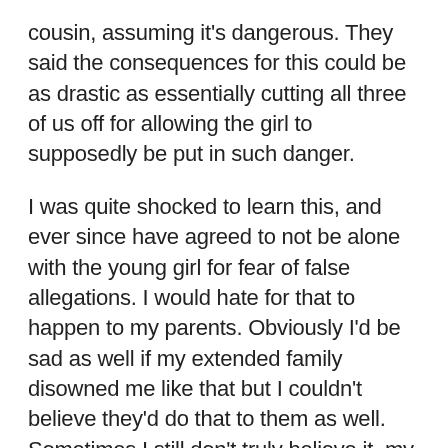cousin, assuming it's dangerous. They said the consequences for this could be as drastic as essentially cutting all three of us off for allowing the girl to supposedly be put in such danger.
I was quite shocked to learn this, and ever since have agreed to not be alone with the young girl for fear of false allegations. I would hate for that to happen to my parents. Obviously I'd be sad as well if my extended family disowned me like that but I couldn't believe they'd do that to them as well. Sometimes I still don't truly believe it, my family is great and I get along with them very well. They've always been very kind and caring; I even pretty much grew up with the Mother of this younger cousin, someone I've always admired because she was only sixteen when she had